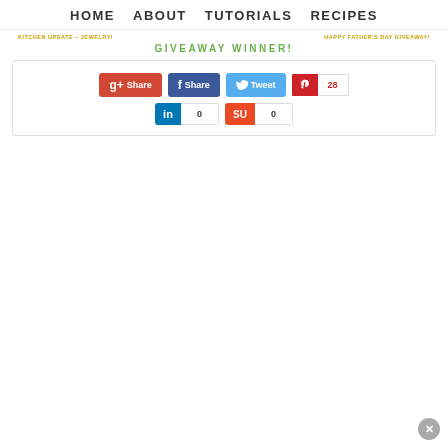HOME   ABOUT   TUTORIALS   RECIPES
KITCHEN UPDATE – JEWELRY!          HAPPY FATHER'S DAY GIVEAWAY!
GIVEAWAY WINNER!
[Figure (screenshot): Social share buttons: Google+ Share (red), Facebook Share (blue), Twitter Tweet (light blue), Pinterest with count 28 (red/white), LinkedIn with count 0 (blue/white), StumbleUpon with count 0 (orange/white)]